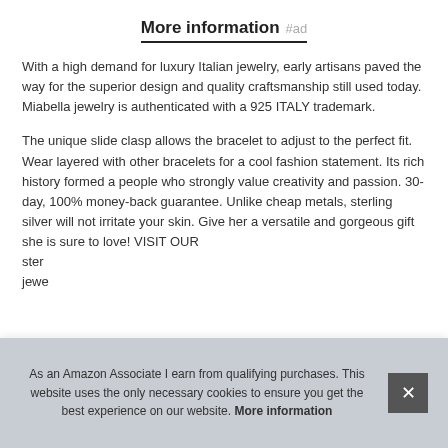More information #ad
With a high demand for luxury Italian jewelry, early artisans paved the way for the superior design and quality craftsmanship still used today. Miabella jewelry is authenticated with a 925 ITALY trademark.
The unique slide clasp allows the bracelet to adjust to the perfect fit. Wear layered with other bracelets for a cool fashion statement. Its rich history formed a people who strongly value creativity and passion. 30-day, 100% money-back guarantee. Unlike cheap metals, sterling silver will not irritate your skin. Give her a versatile and gorgeous gift she is sure to love! VISIT OUR ... ster... jewe...
As an Amazon Associate I earn from qualifying purchases. This website uses the only necessary cookies to ensure you get the best experience on our website. More information